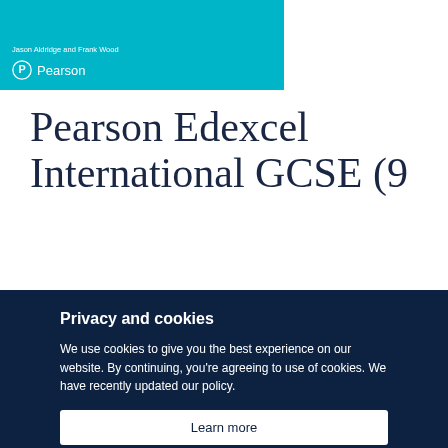[Figure (logo): Teal banner with author text and Pearson logo (P icon and Pearson wordmark in white)]
Pearson Edexcel International GCSE (9
Privacy and cookies
We use cookies to give you the best experience on our website. By continuing, you're agreeing to use of cookies. We have recently updated our policy.
Learn more
Close this message and continue >